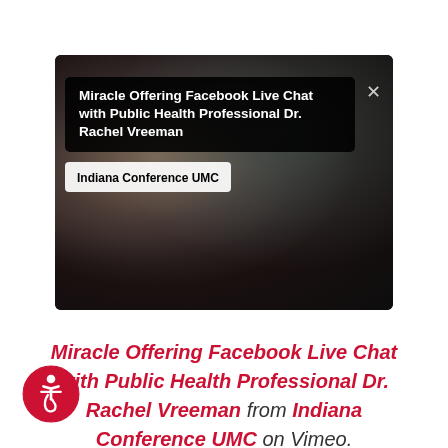[Figure (screenshot): Screenshot of a Vimeo video thumbnail showing a blurred dark background with two overlay boxes: one large black rounded rectangle containing the title 'Miracle Offering Facebook Live Chat with Public Health Professional Dr. Rachel Vreeman' in white bold text with an X close button, and a smaller white box below reading 'Indiana Conference UMC'.]
Miracle Offering Facebook Live Chat with Public Health Professional Dr. Rachel Vreeman from Indiana Conference UMC on Vimeo.